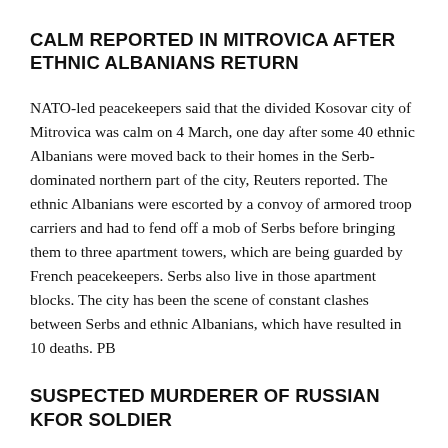CALM REPORTED IN MITROVICA AFTER ETHNIC ALBANIANS RETURN
NATO-led peacekeepers said that the divided Kosovar city of Mitrovica was calm on 4 March, one day after some 40 ethnic Albanians were moved back to their homes in the Serb- dominated northern part of the city, Reuters reported. The ethnic Albanians were escorted by a convoy of armored troop carriers and had to fend off a mob of Serbs before bringing them to three apartment towers, which are being guarded by French peacekeepers. Serbs also live in those apartment blocks. The city has been the scene of constant clashes between Serbs and ethnic Albanians, which have resulted in 10 deaths. PB
SUSPECTED MURDERER OF RUSSIAN KFOR SOLDIER